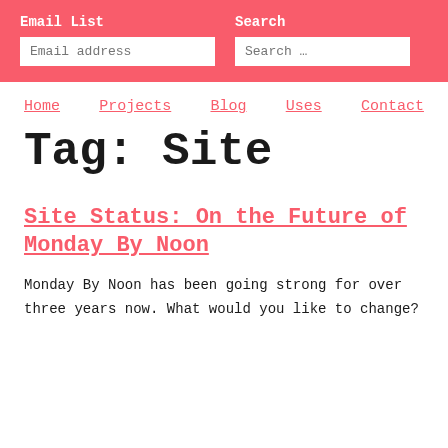Email List | Search
Home
Projects
Blog
Uses
Contact
Tag: Site
Site Status: On the Future of Monday By Noon
Monday By Noon has been going strong for over three years now. What would you like to change?